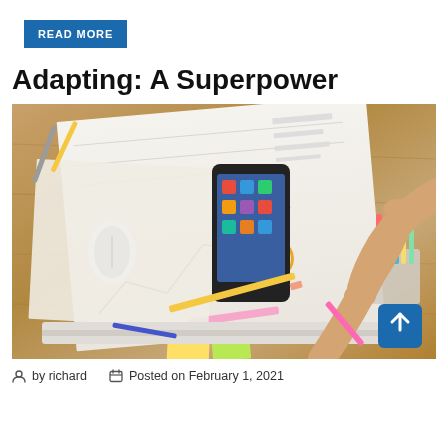READ MORE
Adapting: A Superpower
[Figure (photo): Overhead view of a person's hands on a wooden desk, working with papers, phone, mouse, markers, pencils and sticky notes in a workspace planning session]
by richard   Posted on February 1, 2021